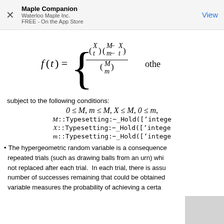Maple Companion
Waterloo Maple Inc.
FREE - On the App Store
View
subject to the following conditions:
The hypergeometric random variable is a consequence of repeated trials (such as drawing balls from an urn) wh... not replaced after each trial. In each trial, there is ass... number of successes remaining that could be obtaine... variable measures the probability of achieving a certa...